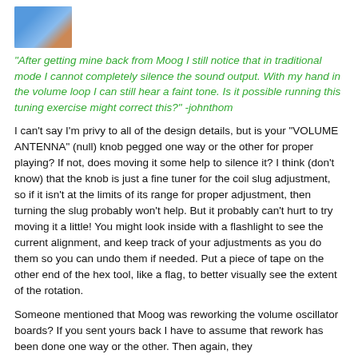[Figure (photo): Small avatar image, partially visible, showing a person or object with blue and brown tones.]
"After getting mine back from Moog I still notice that in traditional mode I cannot completely silence the sound output.  With my hand in the volume loop I can still hear a faint tone.  Is it possible running this tuning exercise might correct this?"  -johnthom
I can't say I'm privy to all of the design details, but is your "VOLUME ANTENNA" (null) knob pegged one way or the other for proper playing?  If not, does moving it some help to silence it?  I think (don't know) that the knob is just a fine tuner for the coil slug adjustment, so if it isn't at the limits of its range for proper adjustment, then turning the slug probably won't help.  But it probably can't hurt to try moving it a little!  You might look inside with a flashlight to see the current alignment, and keep track of your adjustments as you do them so you can undo them if needed.  Put a piece of tape on the other end of the hex tool, like a flag, to better visually see the extent of the rotation.
Someone mentioned that Moog was reworking the volume oscillator boards?  If you sent yours back I have to assume that rework has been done one way or the other.  Then again, they don't necessarily have to give you back the same unit, from memory...